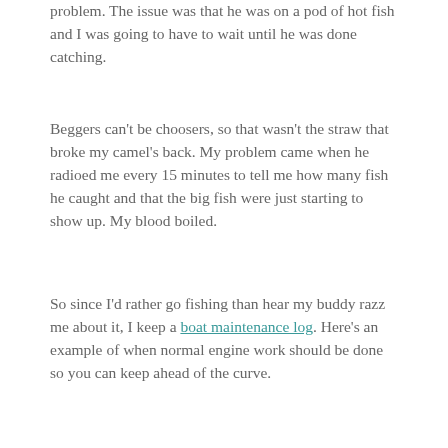problem. The issue was that he was on a pod of hot fish and I was going to have to wait until he was done catching.
Beggers can't be choosers, so that wasn't the straw that broke my camel's back. My problem came when he radioed me every 15 minutes to tell me how many fish he caught and that the big fish were just starting to show up. My blood boiled.
So since I'd rather go fishing than hear my buddy razz me about it, I keep a boat maintenance log. Here's an example of when normal engine work should be done so you can keep ahead of the curve.
| Task | Time in months | Hours of Operation |
| --- | --- | --- |
| Oil and filter | 6 | 375 |
| Fuel filter | 12 | 1000 |
| Adjust valves | 24 | 2000 |
| Transmission | 24 | 2000 |